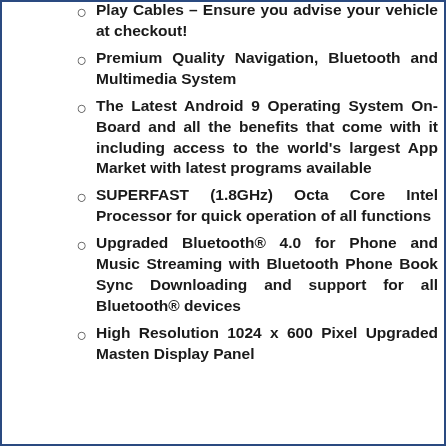Play Cables – Ensure you advise your vehicle at checkout!
Premium Quality Navigation, Bluetooth and Multimedia System
The Latest Android 9 Operating System On-Board and all the benefits that come with it including access to the world's largest App Market with latest programs available
SUPERFAST (1.8GHz) Octa Core Intel Processor for quick operation of all functions
Upgraded Bluetooth® 4.0 for Phone and Music Streaming with Bluetooth Phone Book Sync Downloading and support for all Bluetooth® devices
High Resolution 1024 x 600 Pixel Upgraded Masten Display Panel